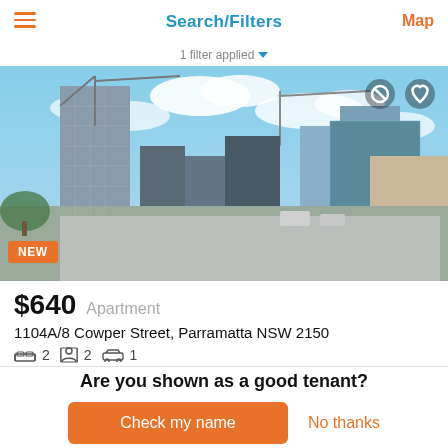Search/Filters
1 filter applied
[Figure (photo): City skyline photograph showing tall buildings and construction cranes under a partly cloudy blue sky, Parramatta NSW area. A NEW badge is shown in the lower-left corner.]
$640  Apartment
1104A/8 Cowper Street, Parramatta NSW 2150
🛏 2  👤 2  🚗 1
Are you shown as a good tenant?
Check my name
No thanks